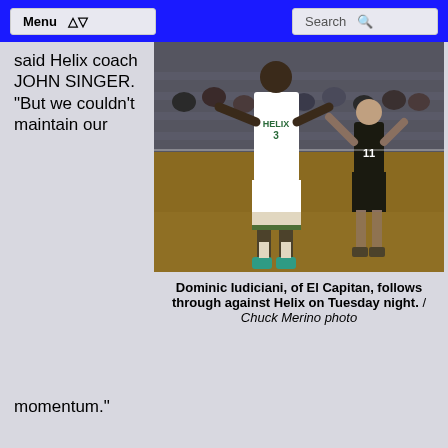Menu | Search
said Helix coach JOHN SINGER. “But we couldn’t maintain our
[Figure (photo): Basketball game photo showing a Helix player in white jersey (#3) jumping and an El Capitan player in black jersey (#11) nearby, with spectators in the background]
Dominic Iudiciani, of El Capitan, follows through against Helix on Tuesday night. / Chuck Merino photo
momentum.”